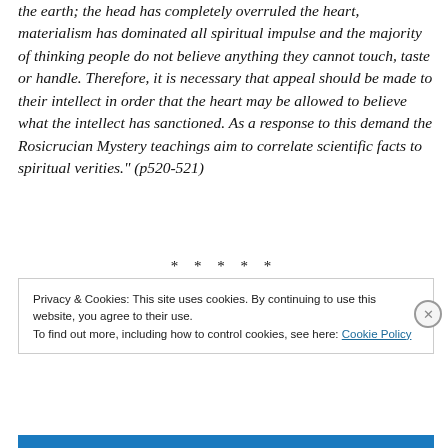the earth; the head has completely overruled the heart, materialism has dominated all spiritual impulse and the majority of thinking people do not believe anything they cannot touch, taste or handle. Therefore, it is necessary that appeal should be made to their intellect in order that the heart may be allowed to believe what the intellect has sanctioned. As a response to this demand the Rosicrucian Mystery teachings aim to correlate scientific facts to spiritual verities." (p520-521)
* * * * *
Privacy & Cookies: This site uses cookies. By continuing to use this website, you agree to their use.
To find out more, including how to control cookies, see here: Cookie Policy
Close and accept